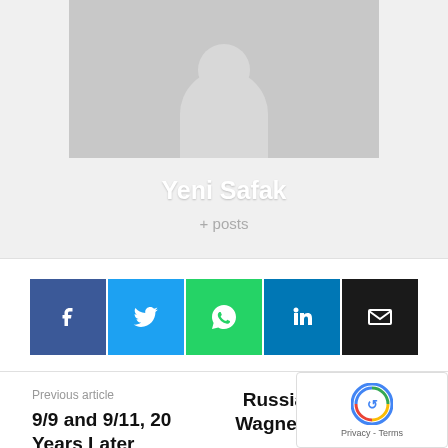[Figure (illustration): Author profile card with grey placeholder avatar silhouette (head and shoulders) on grey background]
Yeni Safak
+ posts
[Figure (infographic): Social share buttons: Facebook (blue), Twitter (cyan), WhatsApp (green), LinkedIn (dark blue), Email (black)]
Previous article
9/9 and 9/11, 20 Years Later
Russian mercena... Wagner lands in hot water